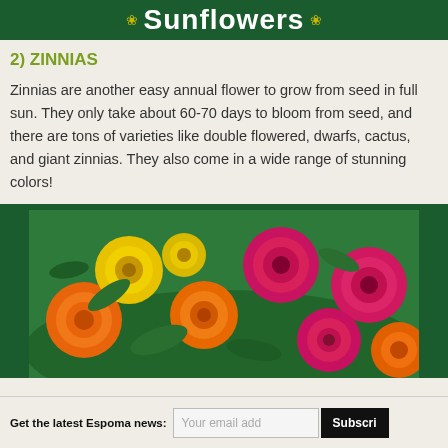[Figure (illustration): Dark green banner with white bold text reading 'Sunflowers' with decorative yellow flower icons on each side]
2) ZINNIAS
Zinnias are another easy annual flower to grow from seed in full sun. They only take about 60-70 days to bloom from seed, and there are tons of varieties like double flowered, dwarfs, cactus, and giant zinnias. They also come in a wide range of stunning colors!
[Figure (photo): Photo of colorful zinnia flowers in orange, yellow, and hot pink/magenta colors with green leaves, in a dark green bordered frame]
Get the latest Espoma news: [email input] Subscribe